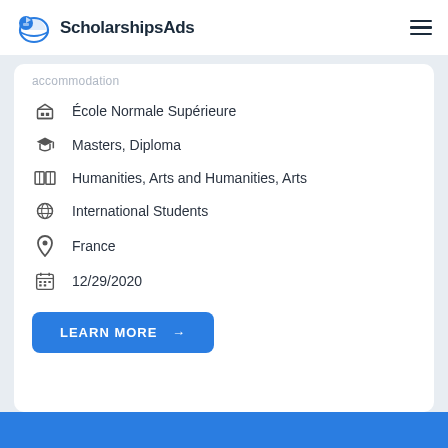ScholarshipsAds
accommodation
École Normale Supérieure
Masters, Diploma
Humanities, Arts and Humanities, Arts
International Students
France
12/29/2020
LEARN MORE →